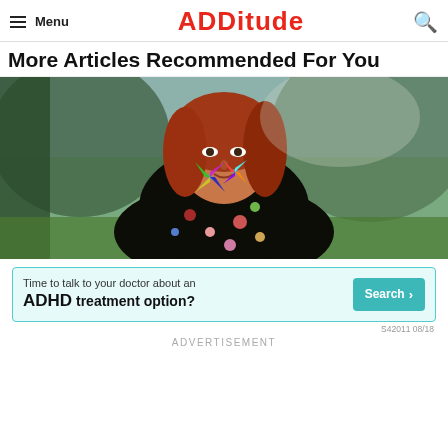Menu | ADDitude | Search
More Articles Recommended For You
[Figure (photo): Young woman with red hair in a floral dress holding colorful pinwheels near her face, outdoors with trees and greenery in background]
[Figure (infographic): Advertisement banner: 'Time to talk to your doctor about an ADHD treatment option?' with a teal Search button and code S42011 08/18]
ADVERTISEMENT